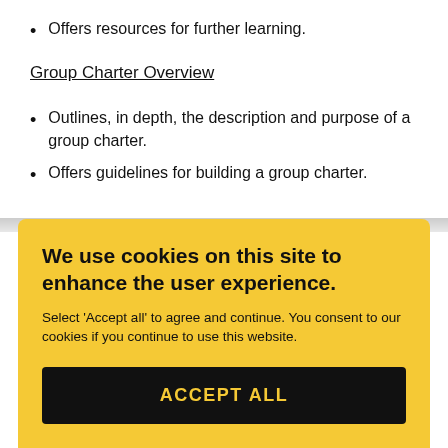Offers resources for further learning.
Group Charter Overview
Outlines, in depth, the description and purpose of a group charter.
Offers guidelines for building a group charter.
We use cookies on this site to enhance the user experience.
Select 'Accept all' to agree and continue. You consent to our cookies if you continue to use this website.
ACCEPT ALL